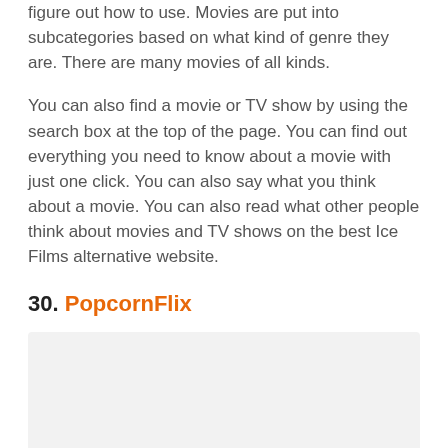figure out how to use. Movies are put into subcategories based on what kind of genre they are. There are many movies of all kinds.
You can also find a movie or TV show by using the search box at the top of the page. You can find out everything you need to know about a movie with just one click. You can also say what you think about a movie. You can also read what other people think about movies and TV shows on the best Ice Films alternative website.
30. PopcornFlix
[Figure (other): Light gray placeholder image box for PopcornFlix section]